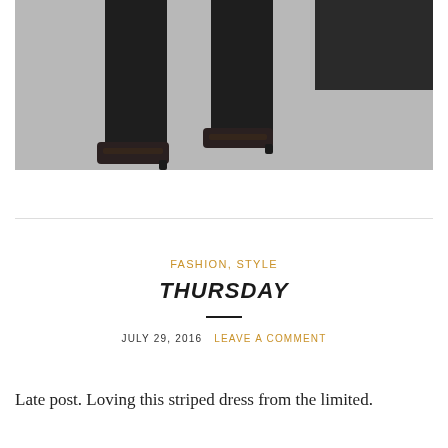[Figure (photo): Photo showing the lower body/legs of a person wearing dark wide-leg trousers and strappy heeled sandals, standing on a gray carpet, with a dark object in upper right corner.]
FASHION, STYLE
THURSDAY
JULY 29, 2016   LEAVE A COMMENT
Late post.  Loving this striped dress from the limited.